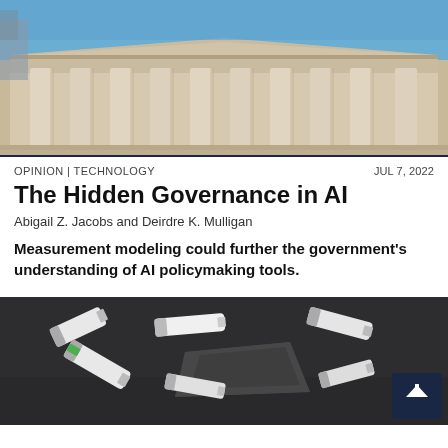[Figure (photo): Exterior photograph of a neoclassical government or courthouse building with large columns, taken from a low angle against a blue sky.]
OPINION | TECHNOLOGY
JUL 7, 2022
The Hidden Governance in AI
Abigail Z. Jacobs and Deirdre K. Mulligan
Measurement modeling could further the government's understanding of AI policymaking tools.
[Figure (photo): Close-up photo of USB flash drives and electronic storage devices scattered on a dark surface.]